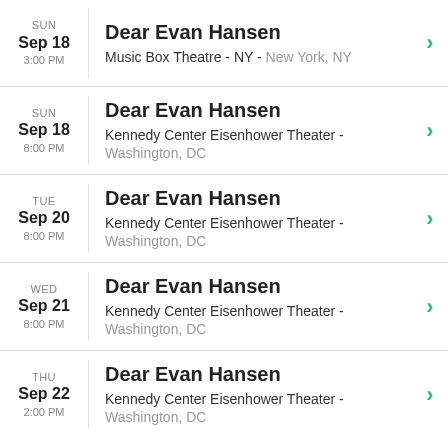SUN Sep 18 3:00 PM | Dear Evan Hansen | Music Box Theatre - NY - New York, NY
SUN Sep 18 8:00 PM | Dear Evan Hansen | Kennedy Center Eisenhower Theater - Washington, DC
TUE Sep 20 8:00 PM | Dear Evan Hansen | Kennedy Center Eisenhower Theater - Washington, DC
WED Sep 21 8:00 PM | Dear Evan Hansen | Kennedy Center Eisenhower Theater - Washington, DC
THU Sep 22 2:00 PM | Dear Evan Hansen | Kennedy Center Eisenhower Theater - Washington, DC